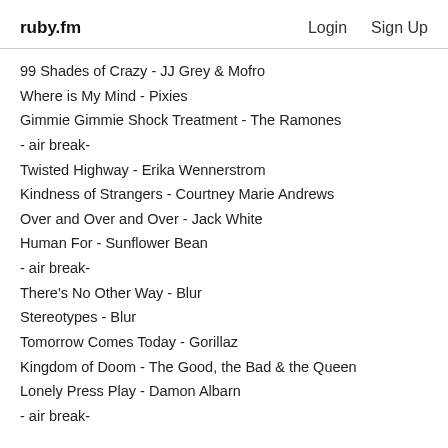ruby.fm   Login   Sign Up
99 Shades of Crazy - JJ Grey & Mofro
Where is My Mind - Pixies
Gimmie Gimmie Shock Treatment - The Ramones
- air break-
Twisted Highway - Erika Wennerstrom
Kindness of Strangers - Courtney Marie Andrews
Over and Over and Over - Jack White
Human For - Sunflower Bean
- air break-
There's No Other Way - Blur
Stereotypes - Blur
Tomorrow Comes Today - Gorillaz
Kingdom of Doom - The Good, the Bad & the Queen
Lonely Press Play - Damon Albarn
- air break-